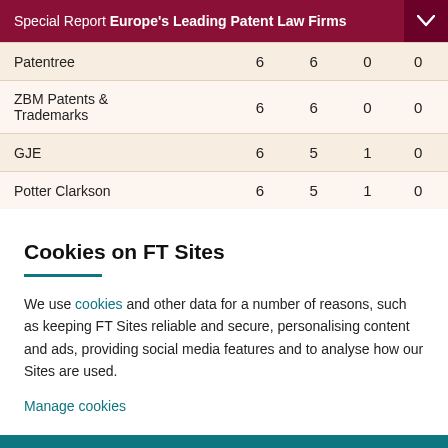Special Report Europe's Leading Patent Law Firms
| Patentree | 6 | 6 | 0 | 0 |
| ZBM Patents & Trademarks | 6 | 6 | 0 | 0 |
| GJE | 6 | 5 | 1 | 0 |
| Potter Clarkson | 6 | 5 | 1 | 0 |
Cookies on FT Sites
We use cookies and other data for a number of reasons, such as keeping FT Sites reliable and secure, personalising content and ads, providing social media features and to analyse how our Sites are used.
Manage cookies
Accept & continue